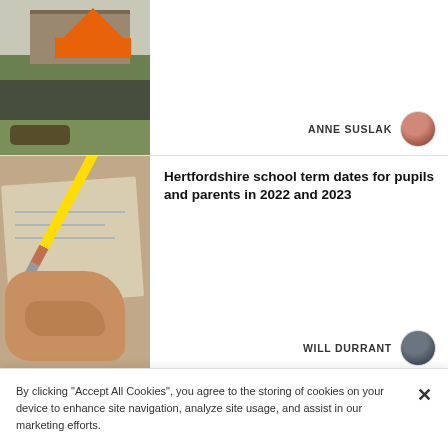[Figure (photo): Outdoor crowd event with an orange tent canopy, people gathered on grass, bicycles visible]
ANNE SUSLAK
Hertfordshire school term dates for pupils and parents in 2022 and 2023
[Figure (photo): Close-up of a hand holding a yellow pencil, writing on paper]
WILL DURRANT
Melbourn Bowls Club celebrates centenary
[Figure (photo): Melbourn Bowls Club building with large green tree, group of people in red uniforms standing in front]
ANNE SUSLAK
By clicking "Accept All Cookies", you agree to the storing of cookies on your device to enhance site navigation, analyze site usage, and assist in our marketing efforts.